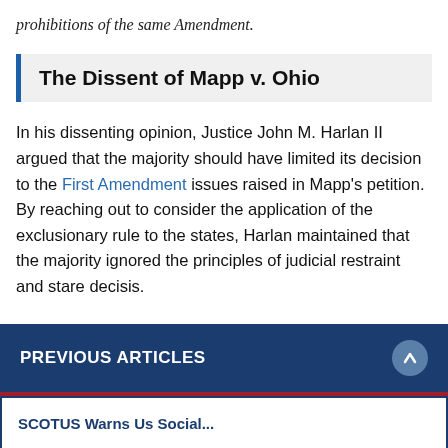prohibitions of the same Amendment.
The Dissent of Mapp v. Ohio
In his dissenting opinion, Justice John M. Harlan II argued that the majority should have limited its decision to the First Amendment issues raised in Mapp's petition. By reaching out to consider the application of the exclusionary rule to the states, Harlan maintained that the majority ignored the principles of judicial restraint and stare decisis.
PREVIOUS ARTICLES
SCOTUS Warns Us Social...